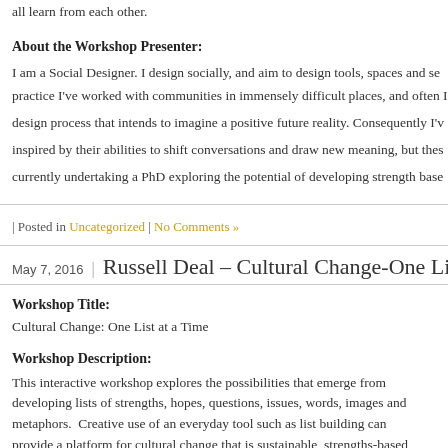all learn from each other.
About the Workshop Presenter:
I am a Social Designer. I design socially, and aim to design tools, spaces and se... currently undertaking a PhD exploring the potential of developing strength base...
| Posted in Uncategorized | No Comments »
May 7, 2016 | Russell Deal – Cultural Change-One List at a...
Workshop Title:
Cultural Change: One List at a Time
Workshop Description:
This interactive workshop explores the possibilities that emerge from developing lists of strengths, hopes, questions, issues, words, images and metaphors. Creative use of an everyday tool such as list building can provide a platform for cultural change that is sustainable, strengths-based and celebratory of 'the expertise that is in the room' rather than building reliance on imported cosmologies of expertise that are often not culturally...